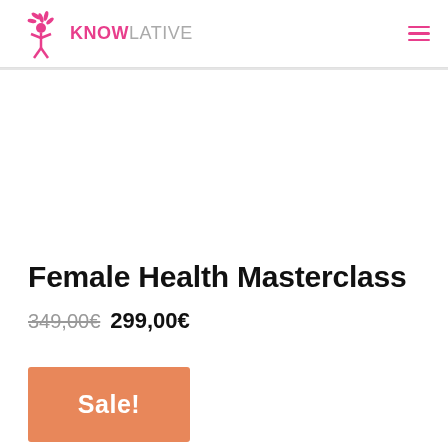KNOWLATIVE
Female Health Masterclass
349,00€ 299,00€
Sale!